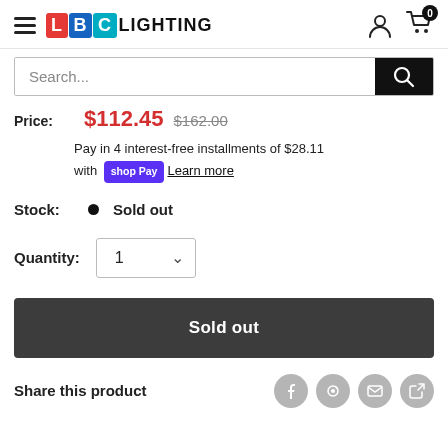LBC LIGHTING
Search...
Price: $112.45 $162.00
Pay in 4 interest-free installments of $28.11 with shop Pay Learn more
Stock: • Sold out
Quantity: 1
Sold out
Share this product